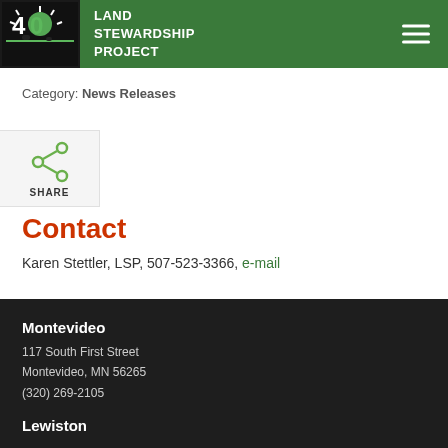Land Stewardship Project
Category: News Releases
Contact
Karen Stettler, LSP, 507-523-3366, e-mail
Montevideo
117 South First Street
Montevideo, MN 56265
(320) 269-2105

Lewiston